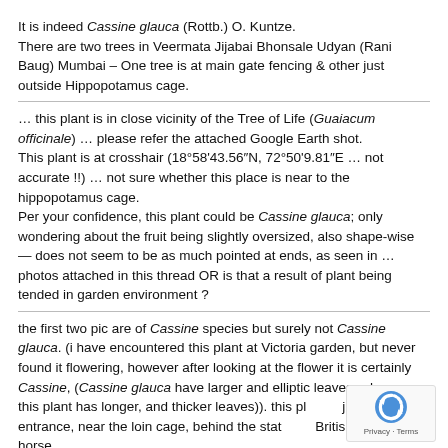It is indeed Cassine glauca (Rottb.) O. Kuntze. There are two trees in Veermata Jijabai Bhonsale Udyan (Rani Baug) Mumbai – One tree is at main gate fencing & other just outside Hippopotamus cage.
… this plant is in close vicinity of the Tree of Life (Guaiacum officinale) … please refer the attached Google Earth shot. This plant is at crosshair (18°58'43.56″N, 72°50'9.81″E … not accurate !!) … not sure whether this place is near to the hippopotamus cage. Per your confidence, this plant could be Cassine glauca; only wondering about the fruit being slightly oversized, also shape-wise — does not seem to be as much pointed at ends, as seen in … photos attached in this thread OR is that a result of plant being tended in garden environment ?
the first two pic are of Cassine species but surely not Cassine glauca. (i have encountered this plant at Victoria garden, but never found it flowering, however after looking at the flower it is certainly Cassine, (Cassine glauca have larger and elliptic leaves, where as this plant has longer, and thicker leaves)). this plant is just left after entrance, near the loin cage, behind the statue of British lord on horse. the lower three pics are of Diospyros embryopteris.